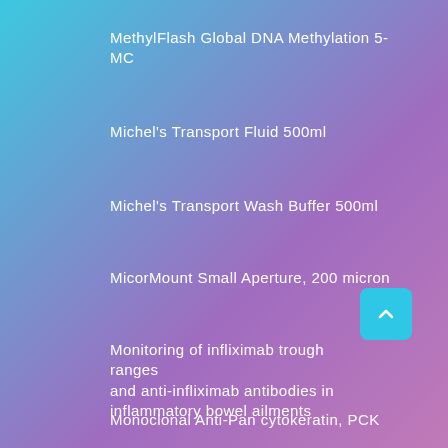MethylFlash Global DNA Methylation 5-MC
Michel's Transport Fluid 500ml
Michel's Transport Wash Buffer 500ml
MicorMount Small Aperture, 200 micron
Monitoring of infliximab trough ranges and anti-infliximab antibodies in inflammatory bowel ailments
Monoclonal Anti-Pan cytokeratin, PCK